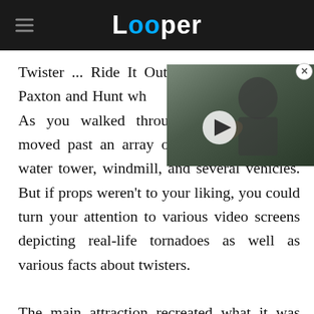Looper
[Figure (screenshot): Video thumbnail showing a bald figure (Voldemort) with a play button overlay, positioned in the top-right of the content area]
Twister ... Ride It Out opened by both Paxton and Hunt which the twisty adventure. As you walked through the queue, you moved past an array of props, including a water tower, windmill, and several vehicles. But if props weren't to your liking, you could turn your attention to various video screens depicting real-life tornadoes as well as various facts about twisters.

The main attraction recreated what it was like really seeing a tornado rip up everything in its path. With